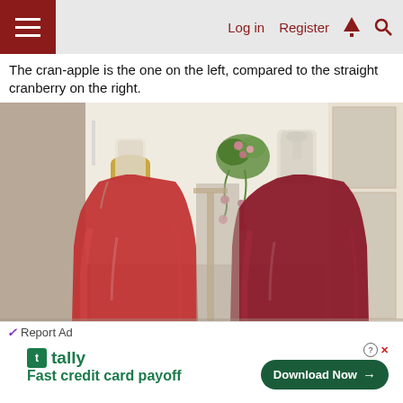Log in  Register
The cran-apple is the one on the left, compared to the straight cranberry on the right.
[Figure (photo): Two large glass carboys/jugs filled with red liquid (cranberry-based beverage/wine). The left jug has a lighter, more translucent red liquid (cran-apple) with a gold cap. The right jug has a darker, deeper red liquid (straight cranberry) with a glass airlock. Both sit on a counter with kitchen decor in the background.]
Report Ad
tally
Fast credit card payoff
Download Now →